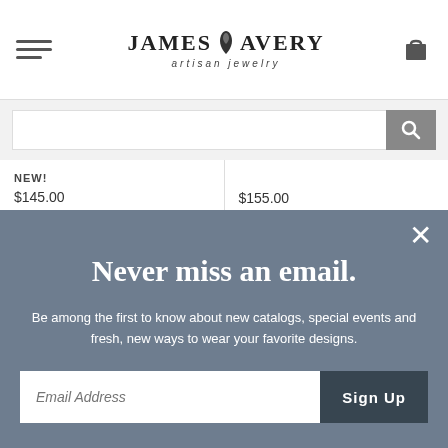James Avery Artisan Jewelry
[Figure (screenshot): Search bar with input field and search icon button]
NEW! $145.00
$155.00
Never miss an email.
Be among the first to know about new catalogs, special events and fresh, new ways to wear your favorite designs.
Email Address  Sign Up